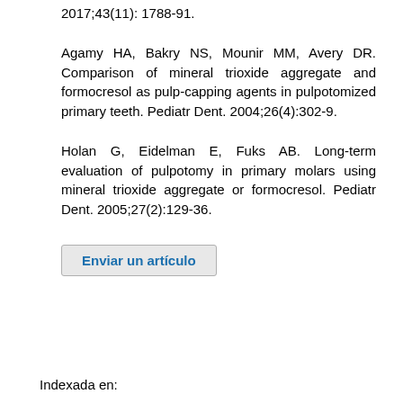2017;43(11): 1788-91.
Agamy HA, Bakry NS, Mounir MM, Avery DR. Comparison of mineral trioxide aggregate and formocresol as pulp-capping agents in pulpotomized primary teeth. Pediatr Dent. 2004;26(4):302-9.
Holan G, Eidelman E, Fuks AB. Long-term evaluation of pulpotomy in primary molars using mineral trioxide aggregate or formocresol. Pediatr Dent. 2005;27(2):129-36.
Enviar un artículo
Indexada en: